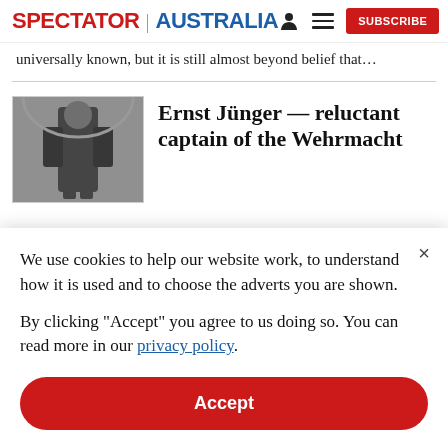SPECTATOR | AUSTRALIA  [person icon] [menu icon] SUBSCRIBE
universally known, but it is still almost beyond belief that…
[Figure (photo): Black and white photograph of a soldier in military uniform]
Ernst Jünger — reluctant captain of the Wehrmacht
We use cookies to help our website work, to understand how it is used and to choose the adverts you are shown.
By clicking "Accept" you agree to us doing so. You can read more in our privacy policy.